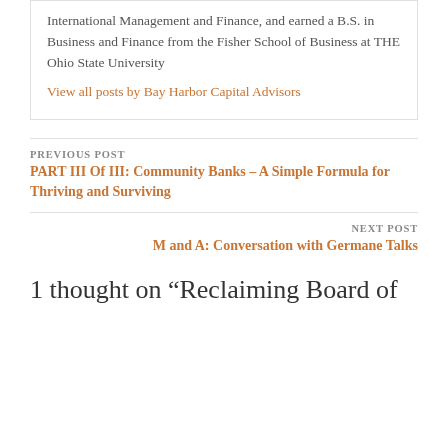International Management and Finance, and earned a B.S. in Business and Finance from the Fisher School of Business at THE Ohio State University
View all posts by Bay Harbor Capital Advisors
PREVIOUS POST
PART III Of III: Community Banks – A Simple Formula for Thriving and Surviving
NEXT POST
M and A: Conversation with Germane Talks
1 thought on “Reclaiming Board of